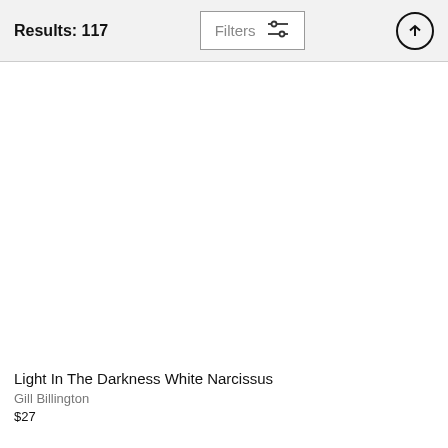Results: 117  Filters  ↑
Light In The Darkness White Narcissus
Gill Billington
$27